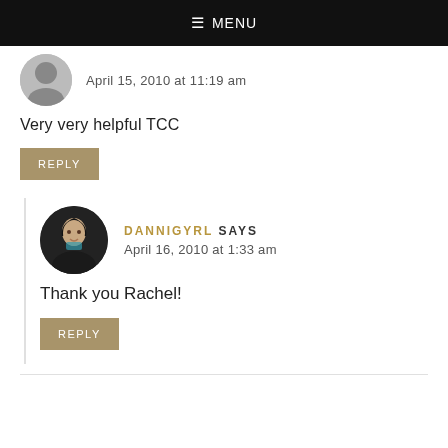MENU
April 15, 2010 at 11:19 am
Very very helpful TCC
REPLY
DANNIGYRL SAYS
April 16, 2010 at 1:33 am
Thank you Rachel!
REPLY